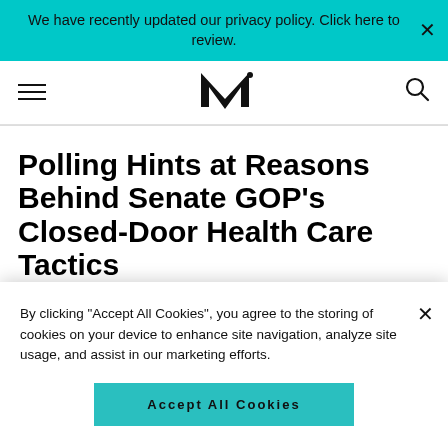We have recently updated our privacy policy. Click here to review.
[Figure (logo): MK (Morning Konsult / Morning Kos) logo with hamburger menu and search icon navigation bar]
Polling Hints at Reasons Behind Senate GOP's Closed-Door Health Care Tactics
By clicking "Accept All Cookies", you agree to the storing of cookies on your device to enhance site navigation, analyze site usage, and assist in our marketing efforts.
Accept All Cookies